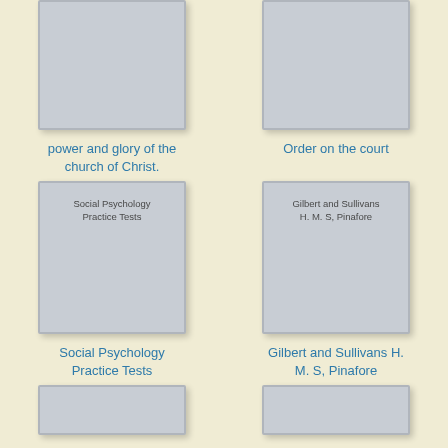[Figure (illustration): Book cover (cropped top) - power and glory of the church of Christ]
[Figure (illustration): Book cover (cropped top) - Order on the court]
power and glory of the church of Christ.
Order on the court
[Figure (illustration): Book cover - Social Psychology Practice Tests]
[Figure (illustration): Book cover - Gilbert and Sullivans H. M. S, Pinafore]
Social Psychology Practice Tests
Gilbert and Sullivans H. M. S, Pinafore
[Figure (illustration): Book cover (cropped bottom) - partial view]
[Figure (illustration): Book cover (cropped bottom) - partial view]